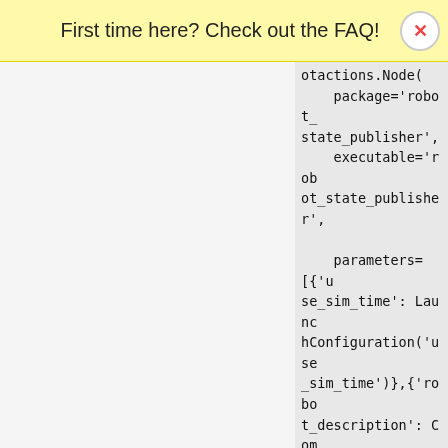First time here? Check out the FAQ!
otuctions.Node(
    package='robot_state_publisher',
    executable='robot_state_publisher',

    parameters=[{'use_sim_time': LaunchConfiguration('use_sim_time')},{'robot_description': Command(['xacro ', LaunchConfiguration('model')])}]
)

rviz_node = launch_ros.actions.Node(
    package='rviz2',
    executable='rviz2',
    name='rviz2'